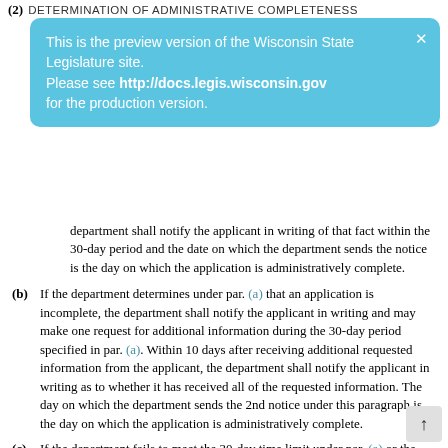(2) Determination of Administrative Completeness
[Figure (screenshot): Preview banner overlay: 'This is the preview version of the Wisconsin State Legislature site. Please see http://docs.legis.wisconsin.gov for the production version.']
department shall notify the applicant in writing of that fact within the 30-day period and the date on which the department sends the notice is the day on which the application is administratively complete.
(b) If the department determines under par. (a) that an application is incomplete, the department shall notify the applicant in writing and may make one request for additional information during the 30-day period specified in par. (a). Within 10 days after receiving additional requested information from the applicant, the department shall notify the applicant in writing as to whether it has received all of the requested information. The day on which the department sends the 2nd notice under this paragraph is the day on which the application is administratively complete.
(c) If the department fails to meet the 30-day time limit under par. (a) or the 10-day time limit under par. (b), the application is administratively complete on the last day of the 30-day time limit or 10-day time limit.
(d) The department may request additional information needed